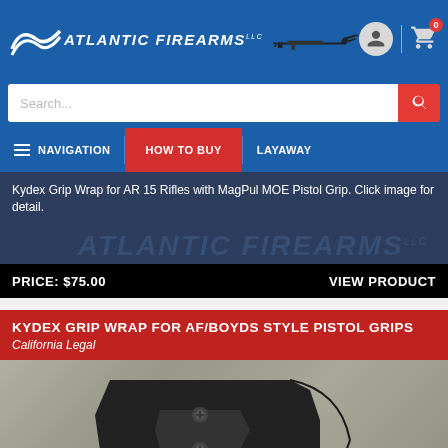[Figure (screenshot): Atlantic Firearms website header with logo, rifle silhouette, user icon, and cart icon showing 0 items]
[Figure (screenshot): Search bar with placeholder text 'Search...' and red search button]
[Figure (screenshot): Navigation bar with NAVIGATION, HOW TO BUY (highlighted red), and LAYAWAY menu items]
Kydex Grip Wrap for AR 15 Rifles with MagPul MOE Pistol Grip. Click image for detail.
PRICE: $75.00
VIEW PRODUCT
KYDEX GRIP WRAP FOR AF/BOYDS STYLE PISTOL GRIPS
California Legal
[Figure (photo): Black Kydex grip wrap accessory on a concrete surface, showing a molded plastic piece with screws]